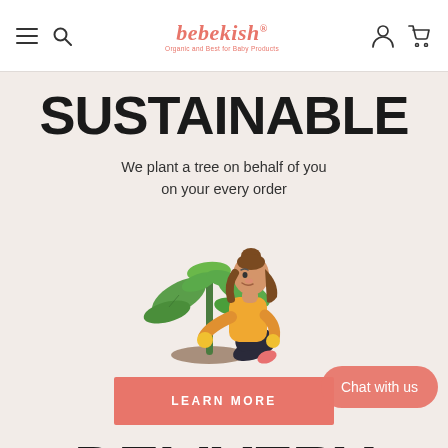bebekish — Organic and Best for Baby Products
SUSTAINABLE
We plant a tree on behalf of you on your every order
[Figure (illustration): Illustration of a woman in a yellow top and dark pants kneeling and planting/tending to a small green tree with leaves, holding tools with gloved hands]
LEARN MORE
Chat with us
DELIVERY